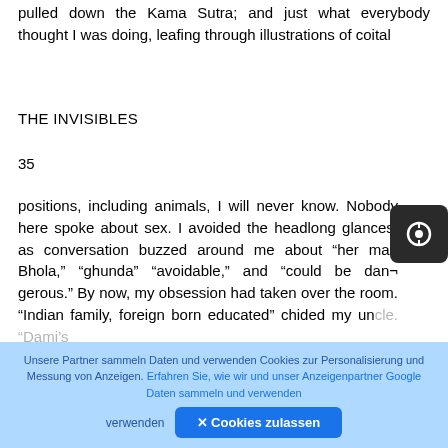pulled down the Kama Sutra; and just what everybody thought I was doing, leafing through illustrations of coital
THE INVISIBLES
35
positions, including animals, I will never know. Nobody here spoke about sex. I avoided the headlong glances, as conversation buzzed around me about “her man Bhola,” “ghunda” “avoidable,” and “could be dan¬ gerous.” By now, my obsession had taken over the room. “Indian family, foreign born educated” chided my uncle. “Dami’s
Unsere Partner sammeln Daten und verwenden Cookies zur Personalisierung und Messung von Anzeigen. Erfahren Sie, wie wir und unser Anzeigenpartner Google Daten sammeln und verwenden
✕ Cookies zulassen